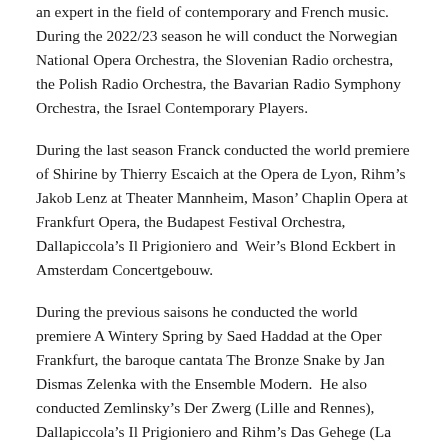an expert in the field of contemporary and French music. During the 2022/23 season he will conduct the Norwegian National Opera Orchestra, the Slovenian Radio orchestra, the Polish Radio Orchestra, the Bavarian Radio Symphony Orchestra, the Israel Contemporary Players.
During the last season Franck conducted the world premiere of Shirine by Thierry Escaich at the Opera de Lyon, Rihm's Jakob Lenz at Theater Mannheim, Mason' Chaplin Opera at Frankfurt Opera, the Budapest Festival Orchestra, Dallapiccola's Il Prigioniero and Weir's Blond Eckbert in Amsterdam Concertgebouw.
During the previous saisons he conducted the world premiere A Wintery Spring by Saed Haddad at the Oper Frankfurt, the baroque cantata The Bronze Snake by Jan Dismas Zelenka with the Ensemble Modern. He also conducted Zemlinsky's Der Zwerg (Lille and Rennes), Dallapiccola's Il Prigioniero and Rihm's Das Gehege (La Monnaie and Stuttgart).
Xenakis' The Oresteia at Basel Opera and Warsaw Opera